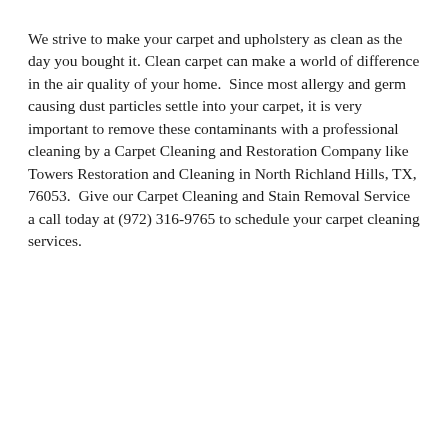We strive to make your carpet and upholstery as clean as the day you bought it. Clean carpet can make a world of difference in the air quality of your home.  Since most allergy and germ causing dust particles settle into your carpet, it is very important to remove these contaminants with a professional cleaning by a Carpet Cleaning and Restoration Company like Towers Restoration and Cleaning in North Richland Hills, TX, 76053.  Give our Carpet Cleaning and Stain Removal Service a call today at (972) 316-9765 to schedule your carpet cleaning services.